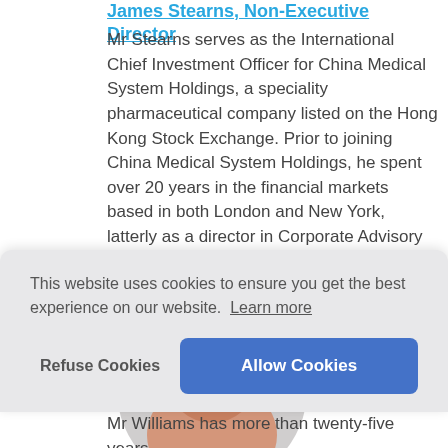James Stearns, Non-Executive Director
Mr Stearns serves as the International Chief Investment Officer for China Medical System Holdings, a speciality pharmaceutical company listed on the Hong Kong Stock Exchange. Prior to joining China Medical System Holdings, he spent over 20 years in the financial markets based in both London and New York, latterly as a director in Corporate Advisory at Panmure Gordon with a focus on life sciences.
[Figure (photo): Circular headshot photo of a person, partially visible, showing top of head against a light grey circular background]
This website uses cookies to ensure you get the best experience on our website. Learn more
Refuse Cookies    Allow Cookies
Mr Williams has more than twenty-five years